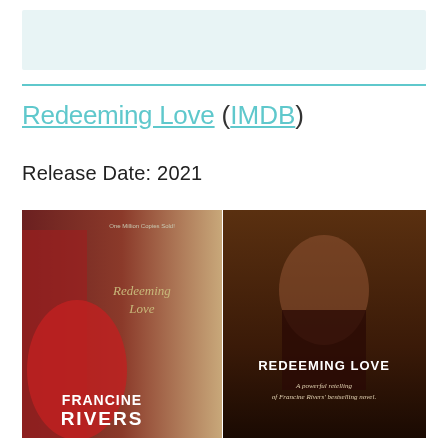[Figure (other): Light teal/blue banner area at the top of the page]
Redeeming Love (IMDB)
Release Date: 2021
[Figure (photo): Side-by-side image: left shows the book cover of 'Redeeming Love' by Francine Rivers (woman in red dress with script title), right shows the movie poster of 'Redeeming Love' (young woman in dark outfit with text 'REDEEMING LOVE - A powerful retelling of Francine Rivers' bestselling novel.')]